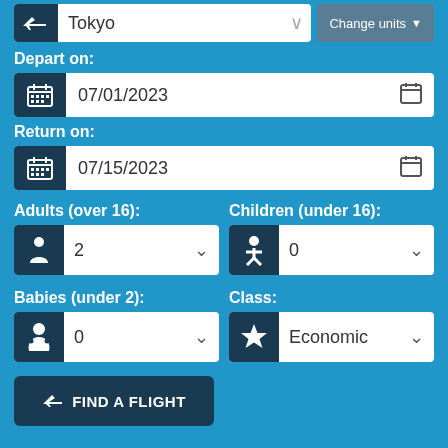Tokyo
Change units
Depart on:
07/01/2023
Return on:
07/15/2023
Adults (over 16):
Children (under 16):
2
0
Babies (under 2):
Class:
0
Economic
FIND A FLIGHT